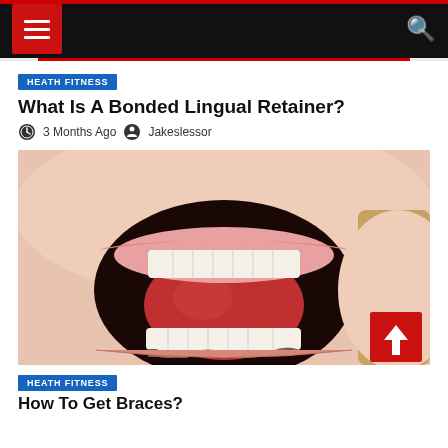Navigation bar with hamburger menu and search icon
HEATH FITNESS
What Is A Bonded Lingual Retainer?
3 Months Ago  Jakeslessor
[Figure (photo): Close-up photo of a person's open mouth showing white upper teeth and a bonded lingual retainer on the lower teeth with tongue visible]
HEATH FITNESS
How To Get Braces?